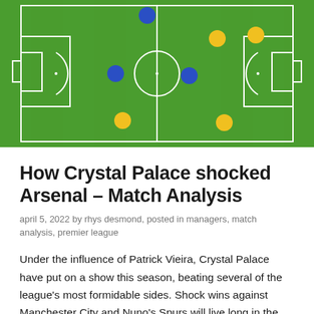[Figure (other): A football tactical diagram showing a half-pitch (green field) with white line markings. Blue filled circles represent one team's players and yellow filled circles represent another team's players, positioned across the pitch in a formation pattern.]
How Crystal Palace shocked Arsenal – Match Analysis
april 5, 2022 by rhys desmond, posted in managers, match analysis, premier league
Under the influence of Patrick Vieira, Crystal Palace have put on a show this season, beating several of the league's most formidable sides. Shock wins against Manchester City and Nuno's Spurs will live long in the memory of Palace fans, but few of their performances can top this past weekend, when they creamed Mikel